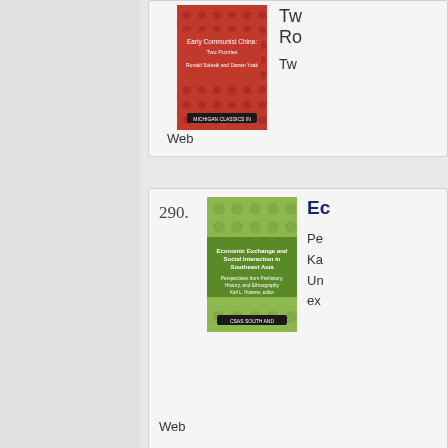[Figure (illustration): Red book cover: Early Communist China, Two Puzzles, Ronald Suleski and Darren Zook]
Tw
Ro
Tw
Web
290.
[Figure (illustration): Green book cover: Economic Exchange and Social Interaction in Southeast Asia, Perspectives from Prehistory, History, and Ethnography, Karl L. Hutterer, editor]
Ec
Pe
Ka
Un
ex
Web
291.
[Figure (illustration): Red book cover: The Economy of Communist China, 1949-1969]
Th
Ch
Re